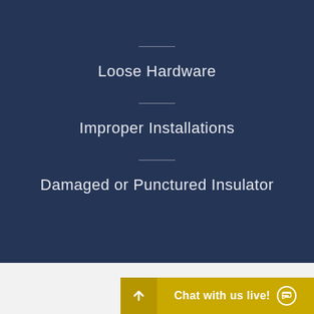Loose Hardware
Improper Installations
Damaged or Punctured Insulator
[Figure (other): Chat with us live button bar with chat icon and scroll-to-top arrow button, yellow background]